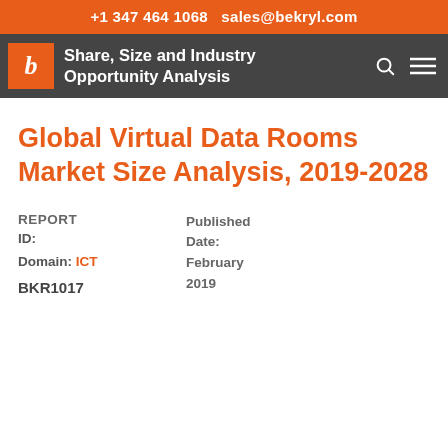+1 347 464 1068   sales@bekryl.com
Share, Size and Industry Opportunity Analysis
Global Virtual Data Rooms Market Size Analysis, 2019-2028
REPORT ID: BKR1017   Domain: ICT   Published Date: February 2019